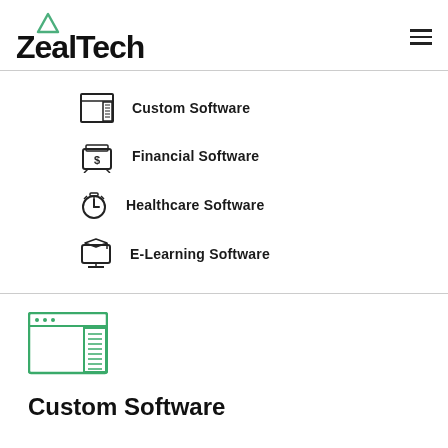[Figure (logo): ZealTech logo with green triangle above Z and bold ZealTech text]
Custom Software
Financial Software
Healthcare Software
E-Learning Software
[Figure (illustration): Custom software window icon in green outline]
Custom Software